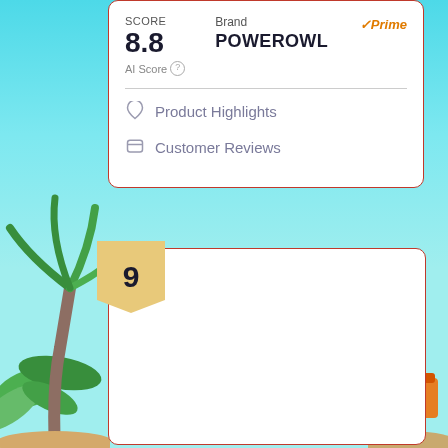SCORE
Brand
Prime
8.8
POWEROWL
AI Score
Product Highlights
Customer Reviews
9